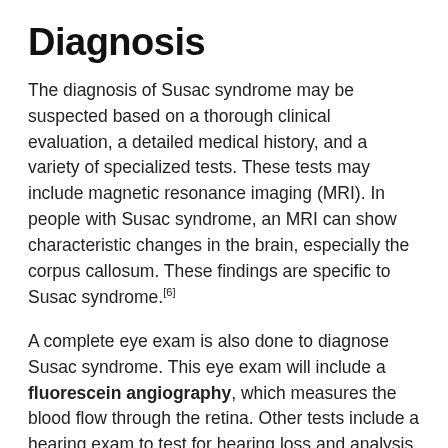Diagnosis
The diagnosis of Susac syndrome may be suspected based on a thorough clinical evaluation, a detailed medical history, and a variety of specialized tests. These tests may include magnetic resonance imaging (MRI). In people with Susac syndrome, an MRI can show characteristic changes in the brain, especially the corpus callosum. These findings are specific to Susac syndrome.[6]
A complete eye exam is also done to diagnose Susac syndrome. This eye exam will include a fluorescein angiography, which measures the blood flow through the retina. Other tests include a hearing exam to test for hearing loss and analysis of the cerebrospinal fluid, which may show high protein levels.[7]